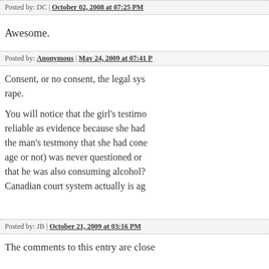Posted by: DC | October 02, 2008 at 07:25 PM
Awesome.
Posted by: Anonymous | May 24, 2009 at 07:41 P
Consent, or no consent, the legal sys rape.
You will notice that the girl's testimo reliable as evidence because she had the man's testmony that she had cone age or not) was never questioned or that he was also consuming alcohol? Canadian court system actually is ag
Posted by: JB | October 21, 2009 at 03:16 PM
The comments to this entry are close